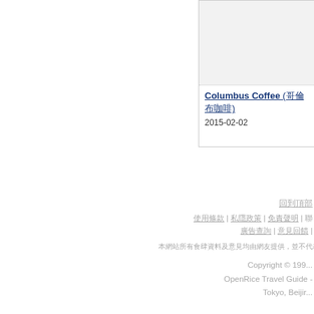[Figure (photo): Partially visible card with an image placeholder at top, showing Columbus Coffee restaurant entry]
Columbus Coffee (哥倫布咖啡)
2015-02-02
回到頂部
使用條款 | 私隱政策 | 免責聲明 | 聯
廣告查詢 | 意見回饋 |
本網站所有食肆資料及意見均由網友提供，並不代表開飯喇之立場。
Copyright © 199...
OpenRice Travel Guide -
Tokyo, Beijir...